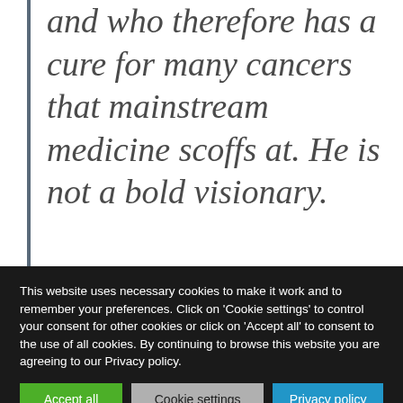and who therefore has a cure for many cancers that mainstream medicine scoffs at. He is not a bold visionary.
This website uses necessary cookies to make it work and to remember your preferences. Click on 'Cookie settings' to control your consent for other cookies or click on 'Accept all' to consent to the use of all cookies. By continuing to browse this website you are agreeing to our Privacy policy.